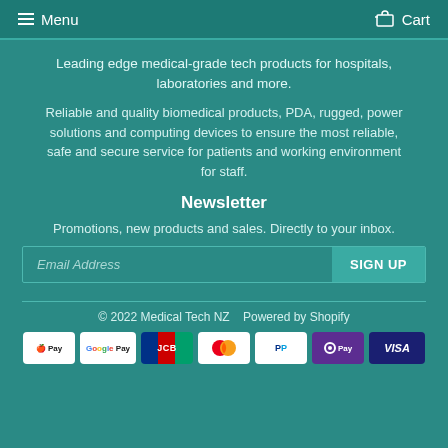Menu   Cart
Leading edge medical-grade tech products for hospitals, laboratories and more.
Reliable and quality biomedical products, PDA, rugged, power solutions and computing devices to ensure the most reliable, safe and secure service for patients and working environment for staff.
Newsletter
Promotions, new products and sales. Directly to your inbox.
Email Address   SIGN UP
© 2022 Medical Tech NZ   Powered by Shopify
[Figure (other): Payment method icons: Apple Pay, Google Pay, JCB, Mastercard, PayPal, OPay, Visa]